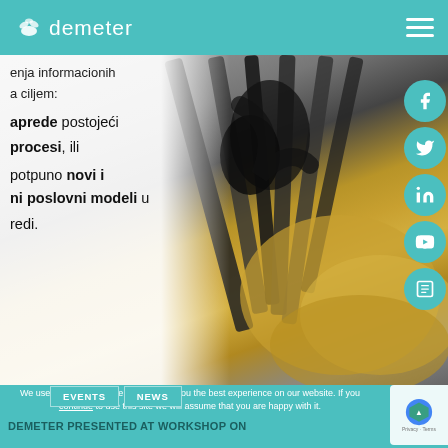demeter
enja informacionih a ciljem:
aprede postojeći procesi, ili potpuno novi i ni poslovni modeli u redi.
[Figure (photo): Close-up photo of grain/corn being processed by industrial machinery, dark metallic tools against golden grain backdrop]
We use cookies to ensure that we give you the best experience on our website. If you continue to use this site we will assume that you are happy with it.
EVENTS    NEWS
DEMETER PRESENTED AT WORKSHOP ON